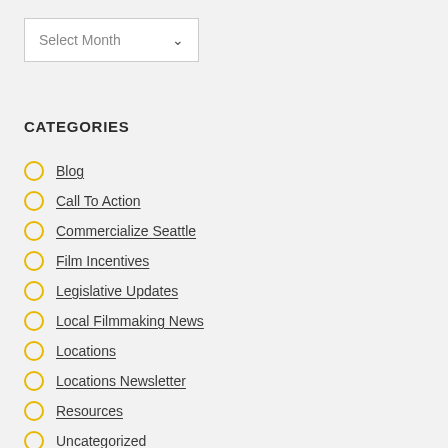Select Month
CATEGORIES
Blog
Call To Action
Commercialize Seattle
Film Incentives
Legislative Updates
Local Filmmaking News
Locations
Locations Newsletter
Resources
Uncategorized
Washington Filmworks News
WF Newsletter
WF Program News